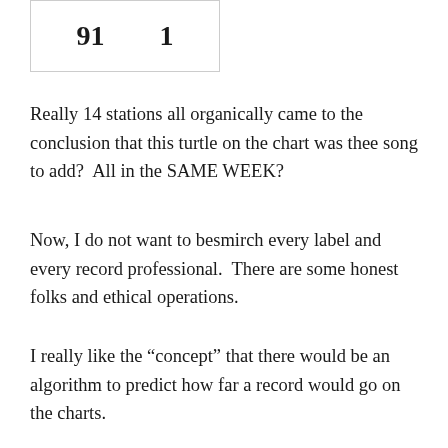| 91 | 1 |
| --- | --- |
Really 14 stations all organically came to the conclusion that this turtle on the chart was thee song to add?  All in the SAME WEEK?
Now, I do not want to besmirch every label and every record professional.  There are some honest folks and ethical operations.
I really like the “concept” that there would be an algorithm to predict how far a record would go on the charts.